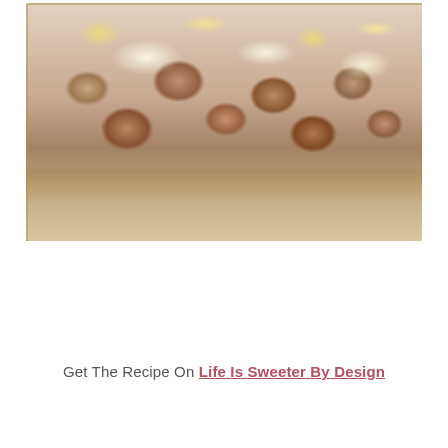[Figure (photo): A glass baking dish containing meatballs covered in melted cheese, viewed from an angle showing the side of the dish. The cheese is golden and bubbly on top.]
Get The Recipe On Life Is Sweeter By Design